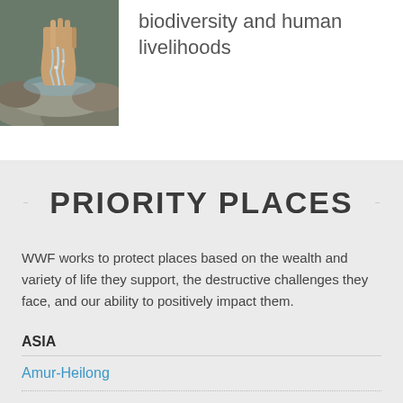[Figure (photo): Hands holding water above rocks, water flowing through fingers in a stream or river setting.]
biodiversity and human livelihoods
PRIORITY PLACES
WWF works to protect places based on the wealth and variety of life they support, the destructive challenges they face, and our ability to positively impact them.
ASIA
Amur-Heilong